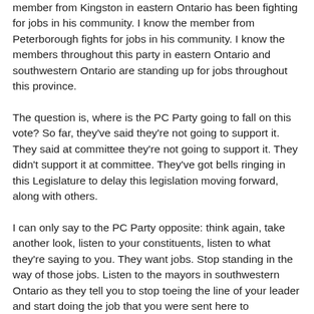member from Kingston in eastern Ontario has been fighting for jobs in his community. I know the member from Peterborough fights for jobs in his community. I know the members throughout this party in eastern Ontario and southwestern Ontario are standing up for jobs throughout this province.
The question is, where is the PC Party going to fall on this vote? So far, they've said they're not going to support it. They said at committee they're not going to support it. They didn't support it at committee. They've got bells ringing in this Legislature to delay this legislation moving forward, along with others.
I can only say to the PC Party opposite: think again, take another look, listen to your constituents, listen to what they're saying to you. They want jobs. Stop standing in the way of those jobs. Listen to the mayors in southwestern Ontario as they tell you to stop toeing the line of your leader and start doing the job that you were sent here to